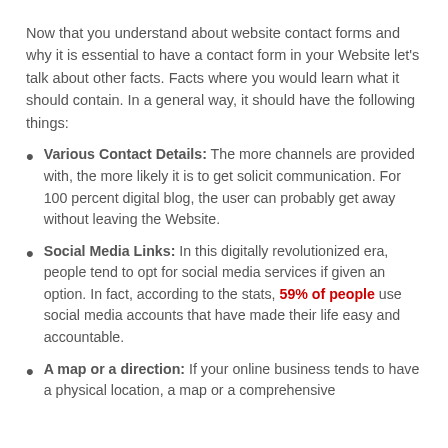Now that you understand about website contact forms and why it is essential to have a contact form in your Website let's talk about other facts. Facts where you would learn what it should contain. In a general way, it should have the following things:
Various Contact Details: The more channels are provided with, the more likely it is to get solicit communication. For 100 percent digital blog, the user can probably get away without leaving the Website.
Social Media Links: In this digitally revolutionized era, people tend to opt for social media services if given an option. In fact, according to the stats, 59% of people use social media accounts that have made their life easy and accountable.
A map or a direction: If your online business tends to have a physical location, a map or a comprehensive